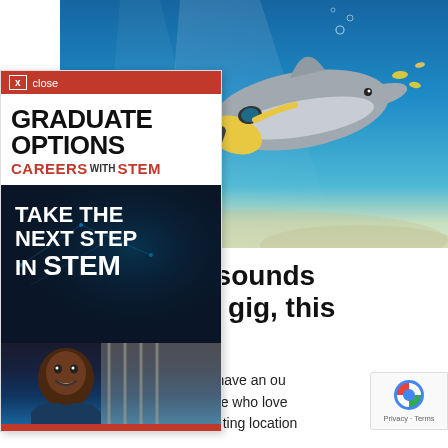[Figure (photo): Underwater photo showing a scuba diver in yellow gear swimming alongside a dolphin in blue water]
[Figure (infographic): Advertisement overlay: Graduate Options Careers with STEM magazine ad with close button, logo, and 'Take the Next Step in STEM' text on dark background with person photo]
nderwater sounds a 9-5 office gig, this ou!
types – you can totally have an ou they're perfect for anyone who love d not knowing what exciting location